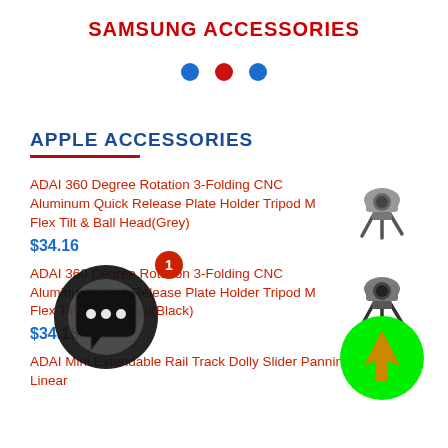SAMSUNG ACCESSORIES
[Figure (infographic): Three dots navigation indicator: blue dot, red dot, blue dot]
APPLE ACCESSORIES
ADAI 360 Degree Rotation 3-Folding CNC Aluminum Quick Release Plate Holder Tripod M Flex Tilt & Ball Head(Grey)
$34.16
[Figure (photo): Camera mounted on a tripod head accessory (grey)]
ADAI 360 Degree Rotation 3-Folding CNC Aluminum Quick Release Plate Holder Tripod M Flex Tilt & Ball Head(Black)
$34.16
[Figure (photo): Camera mounted on a tripod head accessory (black)]
[Figure (infographic): Chat bubble icon overlay with badge showing notification number 1, and green circular button with up arrow]
ADAI Mini Extendable Rail Track Dolly Slider Panning And Linear